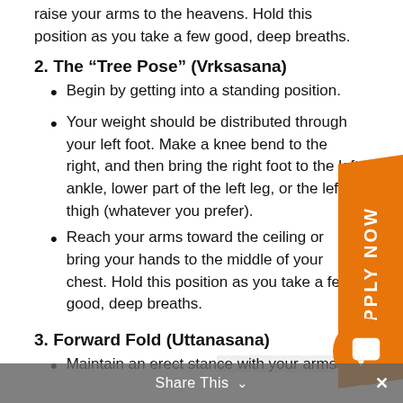raise your arms to the heavens. Hold this position as you take a few good, deep breaths.
2. The “Tree Pose” (Vrksasana)
Begin by getting into a standing position.
Your weight should be distributed through your left foot. Make a knee bend to the right, and then bring the right foot to the left ankle, lower part of the left leg, or the left thigh (whatever you prefer).
Reach your arms toward the ceiling or bring your hands to the middle of your chest. Hold this position as you take a few good, deep breaths.
3. Forward Fold (Uttanasana)
Maintain an erect stance with your arms